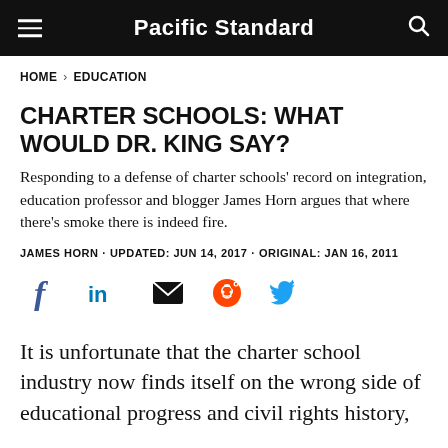Pacific Standard
HOME > EDUCATION
CHARTER SCHOOLS: WHAT WOULD DR. KING SAY?
Responding to a defense of charter schools' record on integration, education professor and blogger James Horn argues that where there's smoke there is indeed fire.
JAMES HORN · UPDATED: JUN 14, 2017 · ORIGINAL: JAN 16, 2011
[Figure (infographic): Social sharing icons: Facebook, LinkedIn, Email, Reddit, Twitter]
It is unfortunate that the charter school industry now finds itself on the wrong side of educational progress and civil rights history,